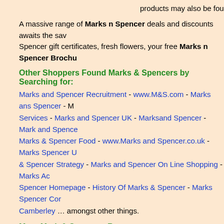products may also be found at Currys Electrical, De…
A massive range of Marks n Spencer deals and discounts awaits the savy… Spencer gift certificates, fresh flowers, your free Marks n Spencer Brochu…
Other Shoppers Found Marks & Spencers by Searching for:
Marks and Spencer Recruitment - www.M&S.com - Marks ans Spencer - M… Services - Marks and Spencer UK - Marksand Spencer - Mark and Spence… Marks & Spencer Food - www.Marks and Spencer.co.uk - Marks Spencer U… & Spencer Strategy - Marks and Spencer On Line Shopping - Marks Ac… Spencer Homepage - History Of Marks & Spencer - Marks Spencer Cor… Camberley … amongst other things.
More Mark & Spencers Resources:
Marks & Spencer
Marks and Spencer plc (also known as M&S) is a major Briti… Westminster, London.
https://en.wikipedia.org/wiki/Marks_%26_Spencer